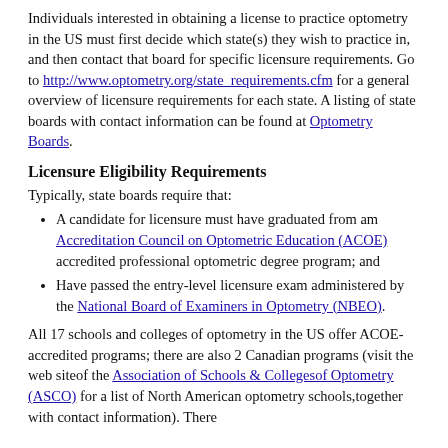Individuals interested in obtaining a license to practice optometry in the US must first decide which state(s) they wish to practice in, and then contact that board for specific licensure requirements. Go to http://www.optometry.org/state_requirements.cfm for a general overview of licensure requirements for each state. A listing of state boards with contact information can be found at Optometry Boards.
Licensure Eligibility Requirements
Typically, state boards require that:
A candidate for licensure must have graduated from am Accreditation Council on Optometric Education (ACOE) accredited professional optometric degree program; and
Have passed the entry-level licensure exam administered by the National Board of Examiners in Optometry (NBEO).
All 17 schools and colleges of optometry in the US offer ACOE-accredited programs; there are also 2 Canadian programs (visit the web siteof the Association of Schools & Collegesof Optometry (ASCO) for a list of North American optometry schools,together with contact information). There